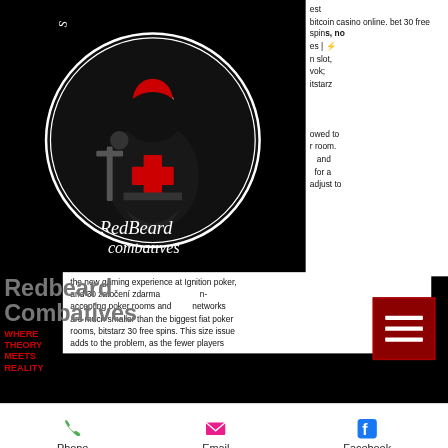[Figure (logo): RedBeard Combatives circular logo featuring a knight in black robes with a red cross on chest, holding a sword, red head, circular border with text 'Soli enim Christo dedere · Est. 1119' and 'RedBeard combatives' at bottom]
est bitcoin casino online. bet 30 free spins, no ... es | ⚡ n slot, vok; itstarz
owed to r room. and for a adjust to the new gaming experience at Ignition poker, and 30 zatočení zdarma n- accepting poker rooms and networks are much smaller than the biggest fiat poker rooms, bitstarz 30 free spins. This size issue adds to the problem, as the fewer players
[Figure (logo): RedBeard Combatives text logo on dark background]
WHERE THEORY MEETS REALITY
[Figure (other): Hamburger menu button with three white horizontal lines on dark red background]
Phone   Email   Facebook